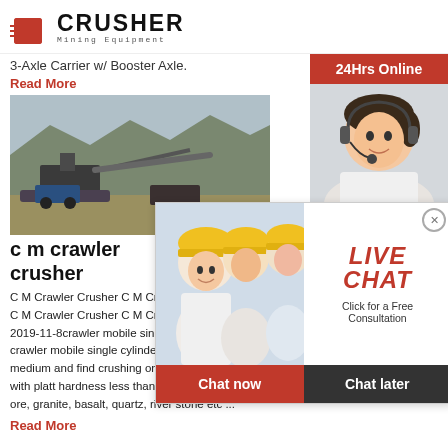[Figure (logo): Crusher Mining Equipment logo with red shopping bag icon and bold CRUSHER text]
3-Axle Carrier w/ Booster Axle.
Read More
[Figure (photo): Mining crusher machinery at a quarry site with conveyor belts and rock piles]
c m crawler crusher
[Figure (infographic): Live Chat popup overlay with workers in yellow helmets, LIVE CHAT heading, Click for a Free Consultation text, Chat now and Chat later buttons]
C M Crawler Crusher C M Crawler Mobile Crusher C M Crawler Crusher C M Crawler Mobile Crusher 2019-11-8crawler mobile single-cylinder cone crusher mobile crawler mobile single cylinder cone crusher is su medium and find crushing on various stones and with platt hardness less than 16, like iron ore, c ore, granite, basalt, quartz, river stone etc ...
Read More
[Figure (infographic): Right sidebar: 24Hrs Online banner, female agent with headset, Need questions & suggestion?, Chat Now button, Enquiry section, limingjlmofen@sina.com email]